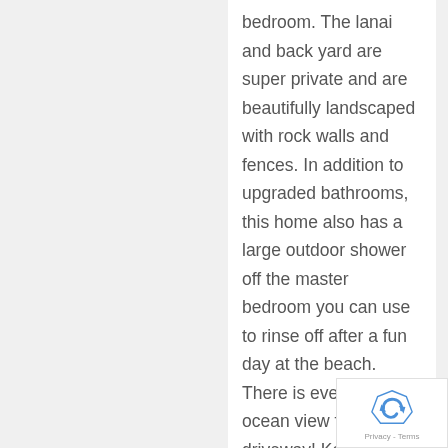bedroom. The lanai and back yard are super private and are beautifully landscaped with rock walls and fences. In addition to upgraded bathrooms, this home also has a large outdoor shower off the master bedroom you can use to rinse off after a fun day at the beach. There is even an ocean view from the driveway! Kamani Trees Subdivision is a great location, it is close enough to the Kona coastline that you can hear the ocean on days the surf is up! Everything you love about being in Hawaii is close by this home. Shopping, ocean front dining, golfing, snorkeling, surfing, diving is all
[Figure (logo): reCAPTCHA badge with blue arrow icon and Privacy - Terms text]